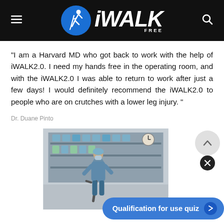[Figure (logo): iWALK Free logo — blue circle with running figure on crutch, bold italic iWALK text with FREE superscript]
"I am a Harvard MD who got back to work with the help of iWALK2.0. I need my hands free in the operating room, and with the iWALK2.0 I was able to return to work after just a few days! I would definitely recommend the iWALK2.0 to people who are on crutches with a lower leg injury."
Dr. Duane Pinto
[Figure (photo): Person wearing scrubs and surgical mask standing in a medical supply room/operating room area, using an iWALK2.0 knee crutch]
Qualification for use quiz